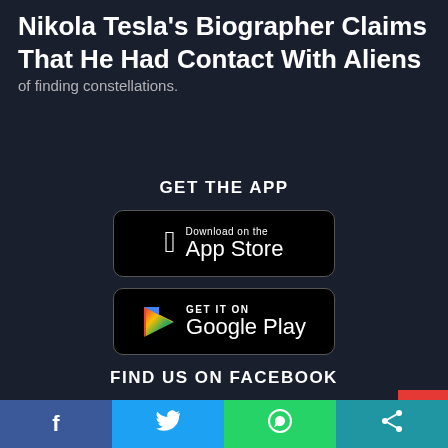Nikola Tesla's Biographer Claims That He Had Contact With Aliens
of finding constellations.
GET THE APP
[Figure (logo): Download on the App Store button — black rounded rectangle with Apple logo and text 'Download on the App Store']
[Figure (logo): Get it on Google Play button — black rounded rectangle with Google Play triangle logo and text 'GET IT ON Google Play']
FIND US ON FACEBOOK
f  (Twitter bird)  (WhatsApp)  (Share)